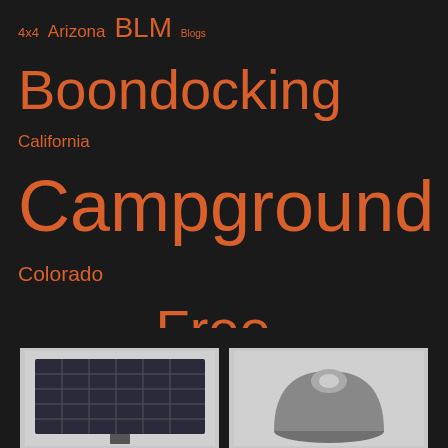[Figure (infographic): Tag cloud with orange text on dark background listing camping, outdoor, and travel topics in varying font sizes. Tags include: 4x4, Arizona, BLM, Blogs, Boondocking, California, Campground, Colorado, Contest, Electrical, Free Camping, Gear, Giveaway, Hiking, Idaho, Internet, Kayaking, Michigan, Montana, Mountain Biking, National Forest, National Monument, National Park, National Recreation Area, Nevada, New Mexico, North Dakota, Oregon, Photography, Propane, skiing, Solar, South Dakota, State Lands, State Park, Technology, Tennessee, Texas, Utah, Washington, Water, Winter, Wisconsin, Wyoming, YouTube]
[Figure (photo): Photo of a solar panel on white/light background, bottom left of page]
[Figure (photo): Photo of a dark dome-shaped device (possibly a camera or speaker) on white/light background, bottom right of page]